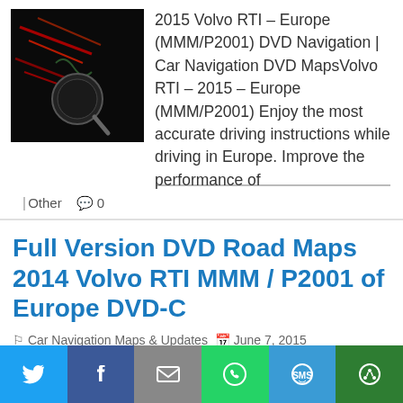[Figure (photo): Thumbnail image of a car navigation GPS device with red and black background]
2015 Volvo RTI – Europe (MMM/P2001) DVD Navigation | Car Navigation DVD MapsVolvo RTI – 2015 – Europe (MMM/P2001) Enjoy the most accurate driving instructions while driving in Europe. Improve the performance of
Other  0
Full Version DVD Road Maps 2014 Volvo RTI MMM / P2001 of Europe DVD-C
Car Navigation Maps & Updates  June 7, 2015
[Figure (photo): Thumbnail image of a car navigation GPS device with red and black background]
Navigation System 2014 Volvo RTI (MMM/P2001) of Europe + DVD Road Maps Navigation system for the new Volvo RTI